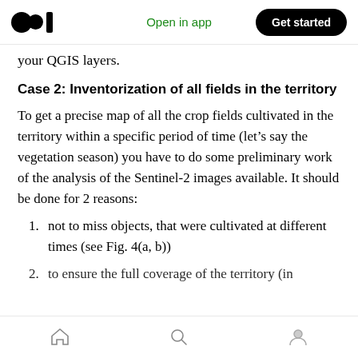Open in app | Get started
your QGIS layers.
Case 2: Inventorization of all fields in the territory
To get a precise map of all the crop fields cultivated in the territory within a specific period of time (let’s say the vegetation season) you have to do some preliminary work of the analysis of the Sentinel-2 images available. It should be done for 2 reasons:
not to miss objects, that were cultivated at different times (see Fig. 4(a, b))
to ensure the full coverage of the territory (in